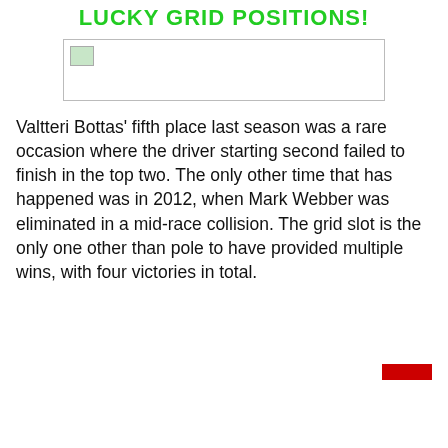LUCKY GRID POSITIONS!
[Figure (photo): Image placeholder with broken image icon]
Valtteri Bottas' fifth place last season was a rare occasion where the driver starting second failed to finish in the top two. The only other time that has happened was in 2012, when Mark Webber was eliminated in a mid-race collision. The grid slot is the only one other than pole to have provided multiple wins, with four victories in total.